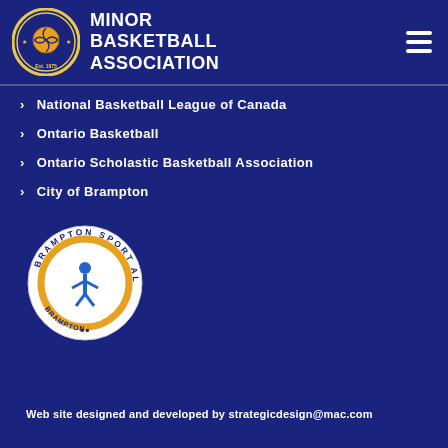MINOR BASKETBALL ASSOCIATION
National Basketball League of Canada
Ontario Basketball
Ontario Scholastic Basketball Association
City of Brampton
[Figure (logo): Brampton Sport Alliance circular logo with figure and orange ring]
Web site designed and developed by strategicdesign@mac.com